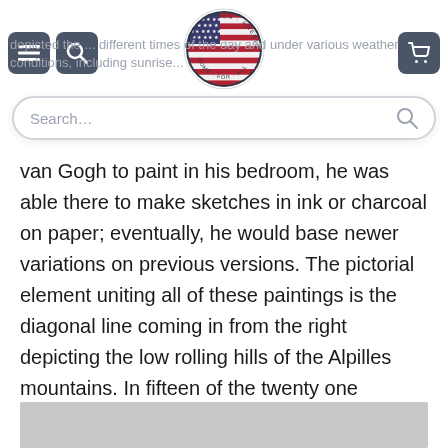depicted the ... different times of the day and under various weather conditions, including sunrise...
[Figure (logo): Circular American flag logo with stars and text around the border]
Search...
van Gogh to paint in his bedroom, he was able there to make sketches in ink or charcoal on paper; eventually, he would base newer variations on previous versions. The pictorial element uniting all of these paintings is the diagonal line coming in from the right depicting the low rolling hills of the Alpilles mountains. In fifteen of the twenty one versions, cypress trees are visible beyond the far wall enclosing the wheat field. Van Gogh telescoped the view in six of these paintings, most notably in F717 Wheat Field with Cypresses and The Starry Night, bringing the trees closer to the picture plane.
[Figure (photo): Grey image placeholder at the bottom of the page]